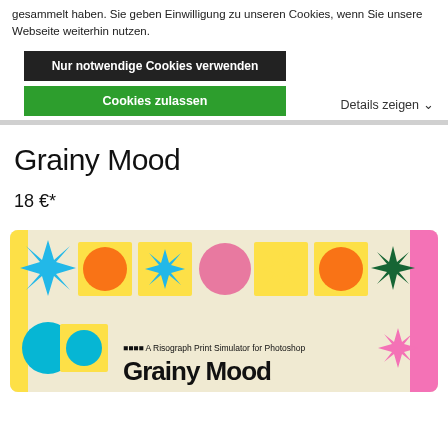gesammelt haben. Sie geben Einwilligung zu unseren Cookies, wenn Sie unsere Webseite weiterhin nutzen.
Nur notwendige Cookies verwenden
Cookies zulassen
Details zeigen ∨
Grainy Mood
18 €*
[Figure (photo): Product image for 'Grainy Mood' showing colorful geometric shapes and starburst icons on a cream background. Text reads: 'A Risograph Print Simulator for Photoshop - Grainy Mood']